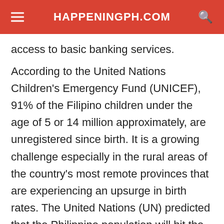HAPPENINGPH.COM
access to basic banking services.
According to the United Nations Children's Emergency Fund (UNICEF), 91% of the Filipino children under the age of 5 or 14 million approximately, are unregistered since birth. It is a growing challenge especially in the rural areas of the country's most remote provinces that are experiencing an upsurge in birth rates. The United Nations (UN) predicted that the Philippine population will hit the mark